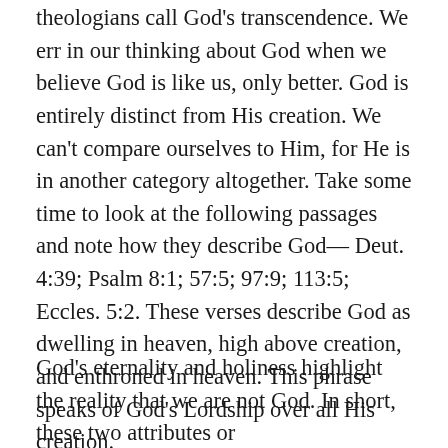theologians call God's transcendence. We err in our thinking about God when we believe God is like us, only better. God is entirely distinct from His creation. We can't compare ourselves to Him, for He is in another category altogether. Take some time to look at the following passages and note how they describe God— Deut. 4:39; Psalm 8:1; 57:5; 97:9; 113:5; Eccles. 5:2. These verses describe God as dwelling in heaven, high above creation, and enthroned in heaven. This phrase speaks of God's Lordship over all His creation.
God's eternality and holiness highlight the reality that we are not God. In short, these two attributes or